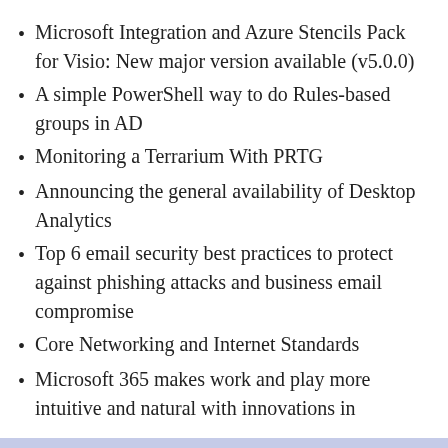Microsoft Integration and Azure Stencils Pack for Visio: New major version available (v5.0.0)
A simple PowerShell way to do Rules-based groups in AD
Monitoring a Terrarium With PRTG
Announcing the general availability of Desktop Analytics
Top 6 email security best practices to protect against phishing attacks and business email compromise
Core Networking and Internet Standards
Microsoft 365 makes work and play more intuitive and natural with innovations in